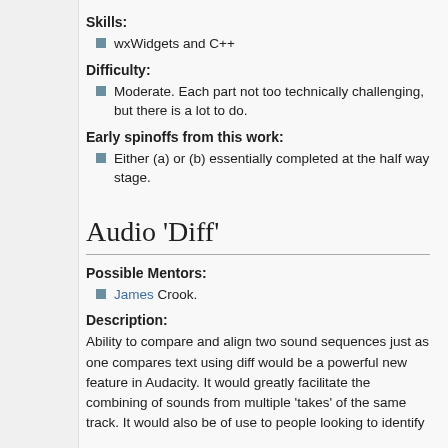Skills:
wxWidgets and C++
Difficulty:
Moderate. Each part not too technically challenging, but there is a lot to do.
Early spinoffs from this work:
Either (a) or (b) essentially completed at the half way stage.
Audio 'Diff'
Possible Mentors:
James Crook.
Description:
Ability to compare and align two sound sequences just as one compares text using diff would be a powerful new feature in Audacity. It would greatly facilitate the combining of sounds from multiple 'takes' of the same track. It would also be of use to people looking to identify